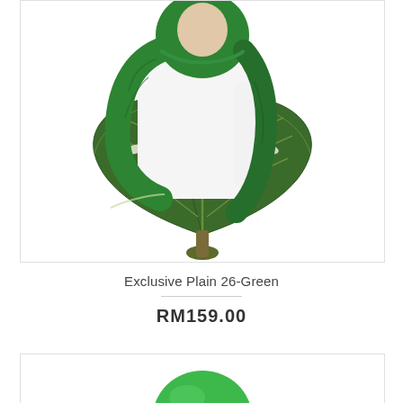[Figure (photo): A person wearing a green hijab (headscarf), dressed in a white long-sleeve top, holding or posed with a large green monstera leaf in front of them. The background is white. Product photo for a green hijab.]
Exclusive Plain 26-Green
RM159.00
[Figure (photo): Partial product photo at the bottom showing what appears to be a green hijab or hat, only the top portion visible.]